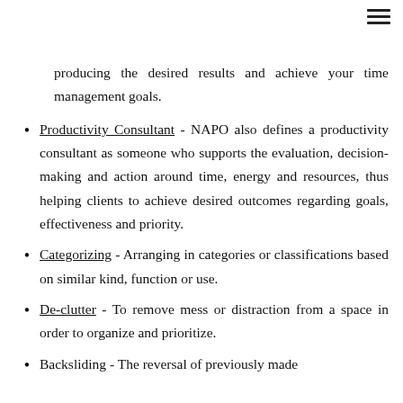≡
producing the desired results and achieve your time management goals.
Productivity Consultant - NAPO also defines a productivity consultant as someone who supports the evaluation, decision-making and action around time, energy and resources, thus helping clients to achieve desired outcomes regarding goals, effectiveness and priority.
Categorizing - Arranging in categories or classifications based on similar kind, function or use.
De-clutter - To remove mess or distraction from a space in order to organize and prioritize.
Backsliding - The reversal of previously made…